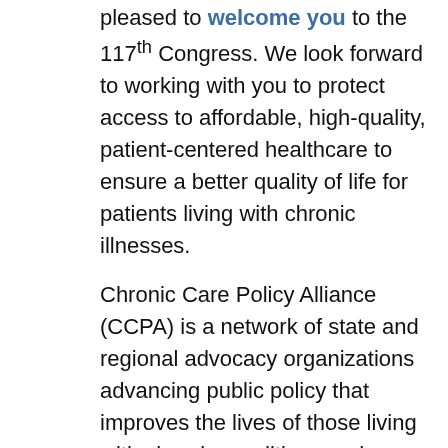pleased to welcome you to the 117th Congress. We look forward to working with you to protect access to affordable, high-quality, patient-centered healthcare to ensure a better quality of life for patients living with chronic illnesses.
Chronic Care Policy Alliance (CCPA) is a network of state and regional advocacy organizations advancing public policy that improves the lives of those living with chronic conditions and diseases. Six in 10 Americans suffer from a chronic condition, and four in 10 suffer from two or more. CCPA is committed to advocating for healthcare policy that effectively addresses the needs of these individuals living with chronic disease, while reducing health care disparities that create undue and significant hurdles for patients in need. We believe it is critical that all patients have equal access to health care services independent of age, ethnicity, socio-